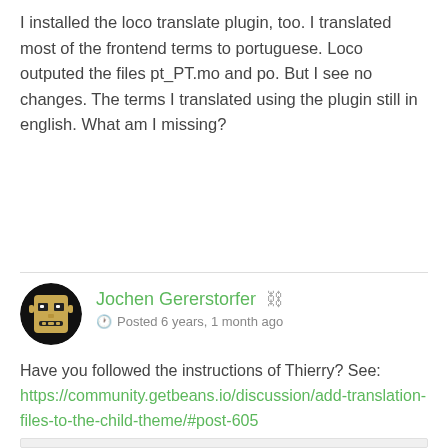I installed the loco translate plugin, too. I translated most of the frontend terms to portuguese. Loco outputed the files pt_PT.mo and po. But I see no changes. The terms I translated using the plugin still in english. What am I missing?
Jochen Gererstorfer
Posted 6 years, 1 month ago
Have you followed the instructions of Thierry? See:
https://community.getbeans.io/discussion/add-translation-files-to-the-child-theme/#post-605
Sami Rods
Posted 6 years, 1 month ago
Yes, Jochen, I did. I moved the loco files to a directory called languages, inside the child theme. I inserted the code: